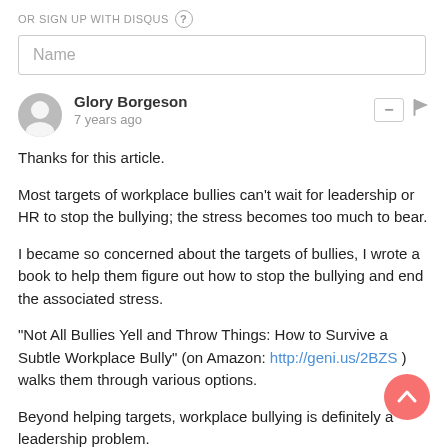OR SIGN UP WITH DISQUS ?
Name
Glory Borgeson
7 years ago
Thanks for this article.

Most targets of workplace bullies can't wait for leadership or HR to stop the bullying; the stress becomes too much to bear.

I became so concerned about the targets of bullies, I wrote a book to help them figure out how to stop the bullying and end the associated stress.

"Not All Bullies Yell and Throw Things: How to Survive a Subtle Workplace Bully" (on Amazon: http://geni.us/2BZS ) walks them through various options.

Beyond helping targets, workplace bullying is definitely a leadership problem.